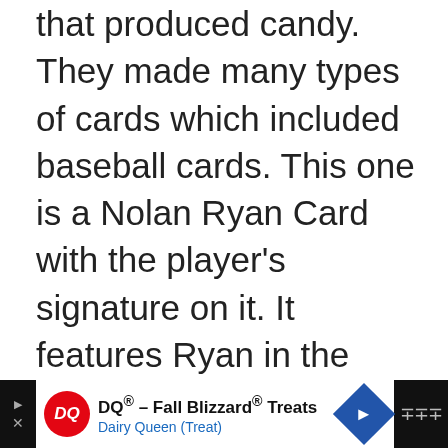that produced candy. They made many types of cards which included baseball cards. This one is a Nolan Ryan Card with the player's signature on it. It features Ryan in the pitching position. He is here at a game where he's playing for the Houston Astros, the team Nolan was with in 1982. This card is very valuable because it's got Nolan's signature, it is graded PSA 10.
[Figure (screenshot): Heart/like button (blue circle with white heart), like count showing 5, and share button]
[Figure (screenshot): What's Next panel showing thumbnail of cards and text '25 Most Valuable 198...']
[Figure (screenshot): Advertisement bar for DQ - Fall Blizzard Treats, Dairy Queen (Treat)]